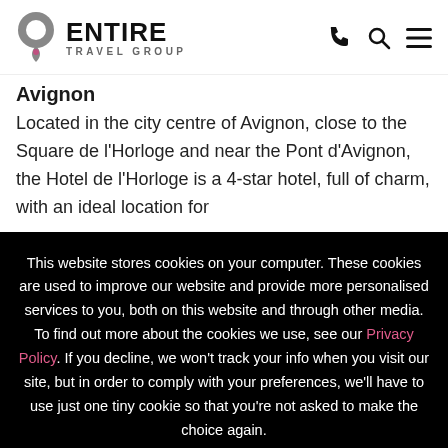Entire Travel Group
Avignon
Located in the city centre of Avignon, close to the Square de l'Horloge and near the Pont d'Avignon, the Hotel de l'Horloge is a 4-star hotel, full of charm, with an ideal location for
This website stores cookies on your computer. These cookies are used to improve our website and provide more personalised services to you, both on this website and through other media. To find out more about the cookies we use, see our Privacy Policy. If you decline, we won't track your info when you visit our site, but in order to comply with your preferences, we'll have to use just one tiny cookie so that you're not asked to make the choice again.
ACCEPT
DECLINE